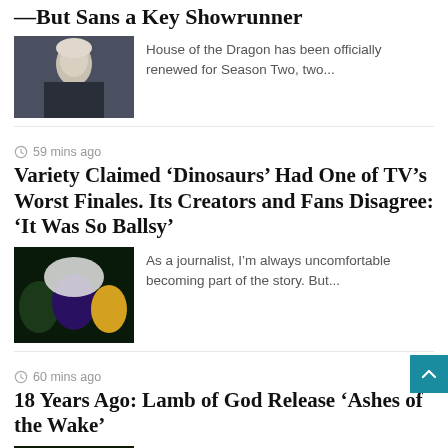—But Sans a Key Showrunner
[Figure (photo): Photo of a white-haired character from House of the Dragon]
House of the Dragon has been officially renewed for Season Two, two...
⊙ 59 mins ago
Variety Claimed 'Dinosaurs' Had One of TV's Worst Finales. Its Creators and Fans Disagree: 'It Was So Ballsy'
[Figure (photo): Photo of Dinosaurs TV show characters in colorful costumes]
As a journalist, I'm always uncomfortable becoming part of the story. But...
⊙ 60 mins ago
18 Years Ago: Lamb of God Release 'Ashes of the Wake'
[Figure (photo): Album cover of Lamb of God's Ashes of the Wake]
On their fourth album, Ashes of the Wake, wh... came out Aug. 31,...